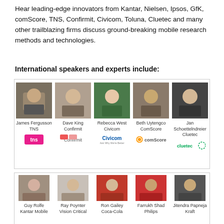Hear leading-edge innovators from Kantar, Nielsen, Ipsos, GfK, comScore, TNS, Confirmit, Civicom, Toluna, Cluetec and many other trailblazing firms discuss ground-breaking mobile research methods and technologies.
International speakers and experts include:
[Figure (photo): Grid of 5 speaker headshots with names and company logos: James Fergusson (TNS), Dave King (Confirmit), Rebecca West (Civicom), Beth Uytengco (ComScore), Jan Schoettelndreier (Cluetec)]
[Figure (photo): Grid of 5 speaker headshots with names and company names: Guy Rolfe (Kantar Mobile), Ray Poynter (Vision Critical), Ron Gailey (Coca-Cola), Farrukh Shad (Philips), Jitendra Papneja (Kraft)]